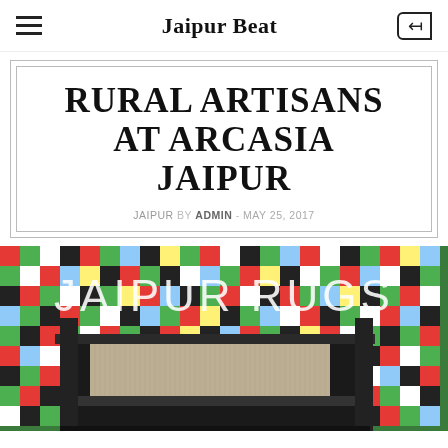Jaipur Beat
RURAL ARTISANS AT ARCASIA JAIPUR
JAIPUR by ADMIN - MAY 25, 2017
[Figure (photo): A weaving loom in front of a colorful checked mosaic tile wall with 'JAIPUR RUGS' text overlaid in large white letters]